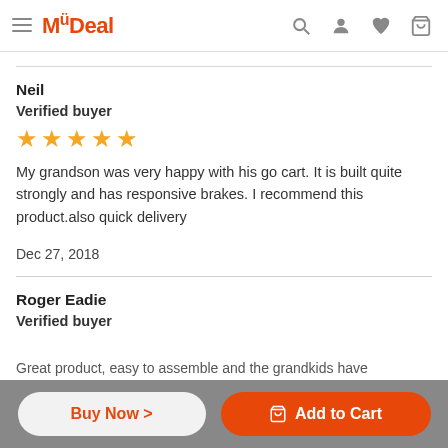MyDeal
Neil
Verified buyer
[Figure (other): 5-star rating shown as 5 gold stars]
My grandson was very happy with his go cart. It is built quite strongly and has responsive brakes. I recommend this product.also quick delivery
Dec 27, 2018
Roger Eadie
Verified buyer
Great product, easy to assemble and the grandkids have